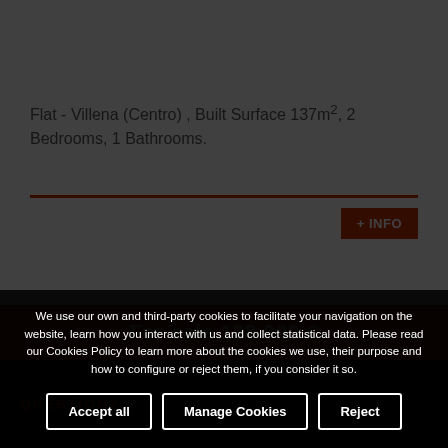Flat - Villena (Centro) , Built Surface 137m², 2 Bedrooms, 1 Bathrooms.
+ INFO
For sale 138.000 €
QUESTION?
We use our own and third-party cookies to facilitate your navigation on the website, learn how you interact with us and collect statistical data. Please read our Cookies Policy to learn more about the cookies we use, their purpose and how to configure or reject them, if you consider it so.
Accept all
Manage Cookies
Reject